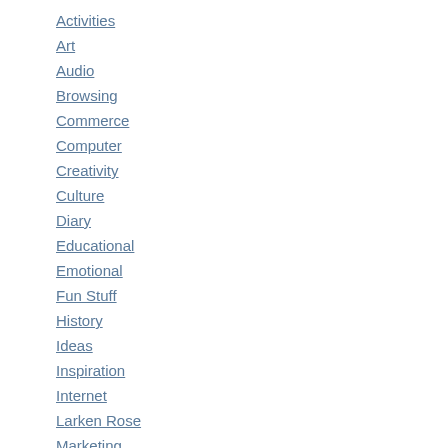Activities
Art
Audio
Browsing
Commerce
Computer
Creativity
Culture
Diary
Educational
Emotional
Fun Stuff
History
Ideas
Inspiration
Internet
Larken Rose
Marketing
Music